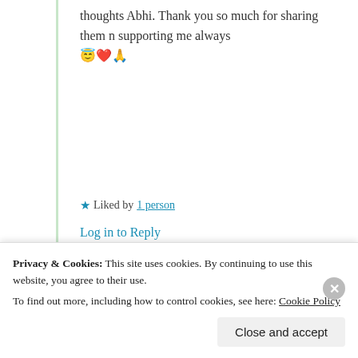thoughts Abhi. Thank you so much for sharing them n supporting me always 😇❤️🙏
★ Liked by 1 person
Log in to Reply
Advertisements
[Figure (other): Advertisement banner: 'Simplified pricing for everything you need. Build Your Website' on a blue-purple gradient background with a hand holding keys]
Privacy & Cookies: This site uses cookies. By continuing to use this website, you agree to their use. To find out more, including how to control cookies, see here: Cookie Policy
Close and accept